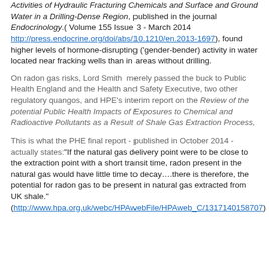Activities of Hydraulic Fracturing Chemicals and Surface and Ground Water in a Drilling-Dense Region, published in the journal Endocrinology.( Volume 155 Issue 3 - March 2014 http://press.endocrine.org/doi/abs/10.1210/en.2013-1697), found higher levels of hormone-disrupting ('gender-bender) activity in water located near fracking wells than in areas without drilling.
On radon gas risks, Lord Smith merely passed the buck to Public Health England and the Health and Safety Executive, two other regulatory quangos, and HPE's interim report on the Review of the potential Public Health Impacts of Exposures to Chemical and Radioactive Pollutants as a Result of Shale Gas Extraction Process,
This is what the PHE final report - published in October 2014 - actually states:"If the natural gas delivery point were to be close to the extraction point with a short transit time, radon present in the natural gas would have little time to decay….there is therefore, the potential for radon gas to be present in natural gas extracted from UK shale." (http://www.hpa.org.uk/webc/HPAwebFile/HPAweb_C/1317140158707)